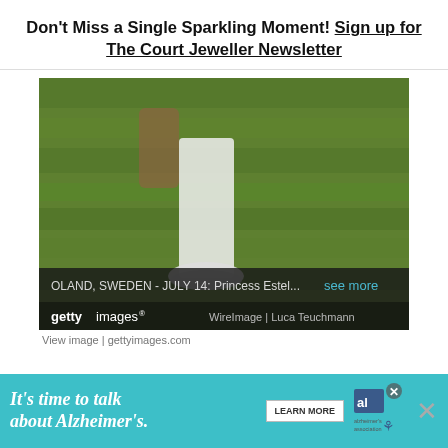Don't Miss a Single Sparkling Moment! Sign up for The Court Jeweller Newsletter
[Figure (photo): Getty Images photo of a person's legs in white sneakers running on green grass, with caption bar reading 'OLAND, SWEDEN - JULY 14: Princess Estel...' and 'see more', Getty Images watermark, WireImage | Luca Teuchmann credit]
View image | gettyimages.com
[Figure (infographic): Advertisement banner: 'It's time to talk about Alzheimer's.' with LEARN MORE button, Alzheimer's association logo, and close (X) buttons]